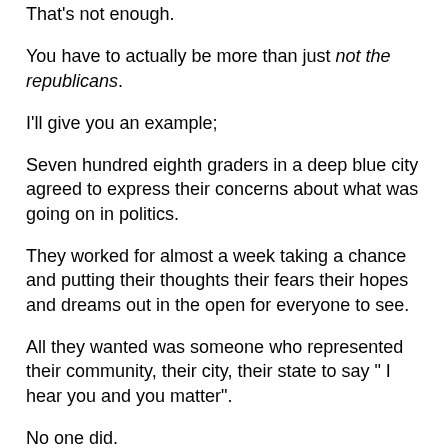That's not enough.
You have to actually be more than just not the republicans.
I'll give you an example;
Seven hundred eighth graders in a deep blue city agreed to express their concerns about what was going on in politics.
They worked for almost a week taking a chance and putting their thoughts their fears their hopes and dreams out in the open for everyone to see.
All they wanted was someone who represented their community, their city, their state to say " I hear you and you matter".
No one did.
Their concerns fell on deaf DEMOCRATIC ears.
Local politicians just couldn't be bothered to connect with the people.